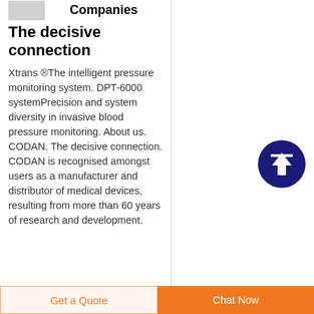[Figure (logo): Small grey logo/icon placeholder in top-left of left column]
Companies
The decisive connection
Xtrans ®The intelligent pressure monitoring system. DPT-6000 systemPrecision and system diversity in invasive blood pressure monitoring. About us. CODAN. The decisive connection. CODAN is recognised amongst users as a manufacturer and distributor of medical devices, resulting from more than 60 years of research and development.
[Figure (illustration): Dark blue circular scroll-to-top button with white upward arrow, positioned in right column]
Get a Quote   Chat Now